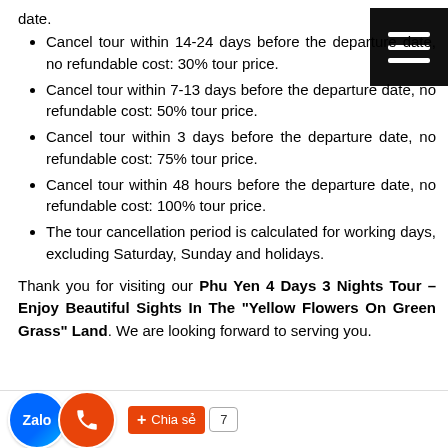date.
Cancel tour within 14-24 days before the departure date, no refundable cost: 30% tour price.
Cancel tour within 7-13 days before the departure date, no refundable cost: 50% tour price.
Cancel tour within 3 days before the departure date, no refundable cost: 75% tour price.
Cancel tour within 48 hours before the departure date, no refundable cost: 100% tour price.
The tour cancellation period is calculated for working days, excluding Saturday, Sunday and holidays.
Thank you for visiting our Phu Yen 4 Days 3 Nights Tour – Enjoy Beautiful Sights In The "Yellow Flowers On Green Grass" Land. We are looking forward to serving you.
[Figure (other): Footer social/share buttons: Zalo icon, phone icon, Chia se share button, count badge showing 7]